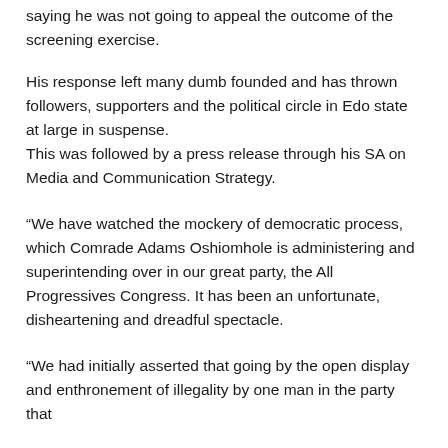saying he was not going to appeal the outcome of the screening exercise.
His response left many dumb founded and has thrown followers, supporters and the political circle in Edo state at large in suspense.
This was followed by a press release through his SA on Media and Communication Strategy.
“We have watched the mockery of democratic process, which Comrade Adams Oshiomhole is administering and superintending over in our great party, the All Progressives Congress. It has been an unfortunate, disheartening and dreadful spectacle.
“We had initially asserted that going by the open display and enthronement of illegality by one man in the party that